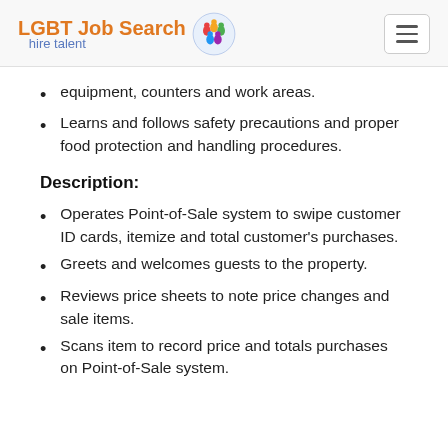LGBT Job Search hire talent
equipment, counters and work areas.
Learns and follows safety precautions and proper food protection and handling procedures.
Description:
Operates Point-of-Sale system to swipe customer ID cards, itemize and total customer's purchases.
Greets and welcomes guests to the property.
Reviews price sheets to note price changes and sale items.
Scans item to record price and totals purchases on Point-of-Sale system.